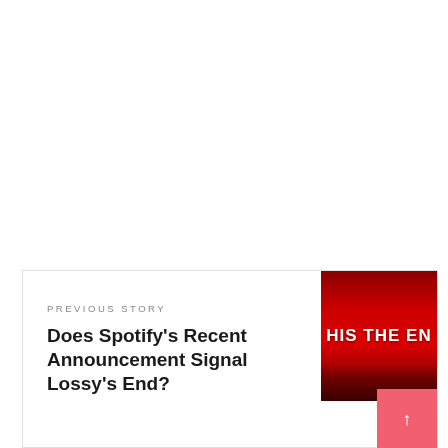PREVIOUS STORY
Does Spotify's Recent Announcement Signal Lossy's End?
[Figure (photo): A dark red image with white bold text reading 'HIS THE EN' (partial text visible), likely a cropped thumbnail of a video or article image related to 'Is This The End?' with a crowd or venue in the dark background.]